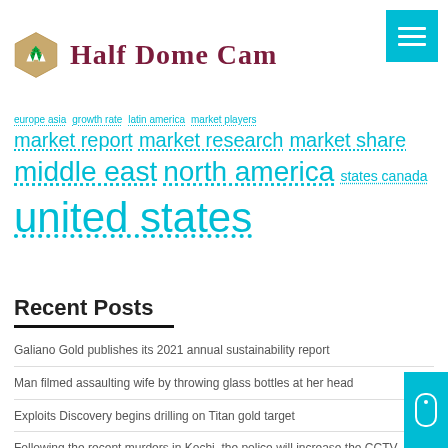Half Dome Cam
europe asia  growth rate  latin america  market players  market report  market research  market share  middle east  north america  states canada  united states
Recent Posts
Galiano Gold publishes its 2021 annual sustainability report
Man filmed assaulting wife by throwing glass bottles at her head
Exploits Discovery begins drilling on Titan gold target
Following the recent murders in Kochi, the police will increase the CCTV network to 2 lakh cameras